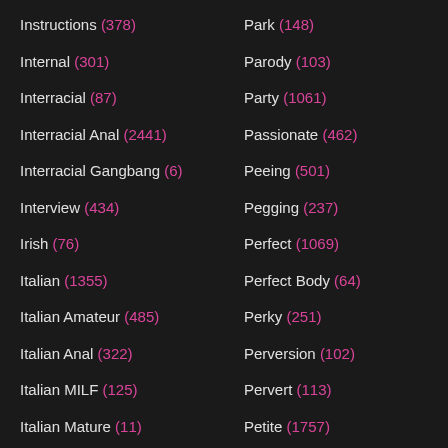Instructions (378)
Internal (301)
Interracial (87)
Interracial Anal (2441)
Interracial Gangbang (6)
Interview (434)
Irish (76)
Italian (1355)
Italian Amateur (485)
Italian Anal (322)
Italian MILF (125)
Italian Mature (11)
Italian Mom (26)
Italian Vintage (82)
JAV (402)
JOI (2069)
Park (148)
Parody (103)
Party (1061)
Passionate (462)
Peeing (501)
Pegging (237)
Perfect (1069)
Perfect Body (64)
Perky (251)
Perversion (102)
Pervert (113)
Petite (1757)
Phat Ass (536)
Phone (199)
Photoshoot (115)
Pick Up (289)